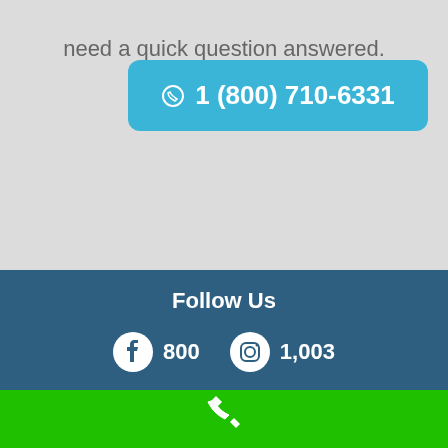need a quick question answered.
☎ 1 (800) 710-6331
Follow Us
800
1,003
[Figure (logo): White phone handset icon on green background]